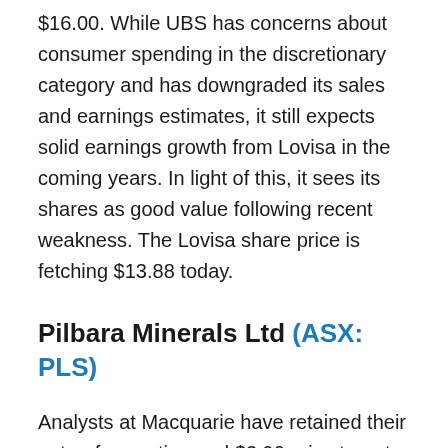$16.00. While UBS has concerns about consumer spending in the discretionary category and has downgraded its sales and earnings estimates, it still expects solid earnings growth from Lovisa in the coming years. In light of this, it sees its shares as good value following recent weakness. The Lovisa share price is fetching $13.88 today.
Pilbara Minerals Ltd (ASX: PLS)
Analysts at Macquarie have retained their outperform rating and $3.90 price target on this lithium miner's shares. This follows news that